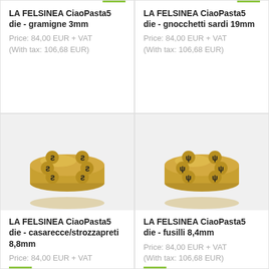LA FELSINEA CiaoPasta5 die - gramigne 3mm
Price: 84,00 EUR + VAT (With tax: 106,68 EUR)
LA FELSINEA CiaoPasta5 die - gnocchetti sardi 19mm
Price: 84,00 EUR + VAT (With tax: 106,68 EUR)
[Figure (photo): Brass pasta die for casarecce/strozzapreti 8,8mm with 6 circular holes showing S-shaped pasta cutouts]
[Figure (photo): Brass pasta die for fusilli 8,4mm with 6 circular holes showing Y-shaped pasta cutouts]
LA FELSINEA CiaoPasta5 die - casarecce/strozzapreti 8,8mm
Price: 84,00 EUR + VAT
LA FELSINEA CiaoPasta5 die - fusilli 8,4mm
Price: 84,00 EUR + VAT (With tax: 106,68 EUR)